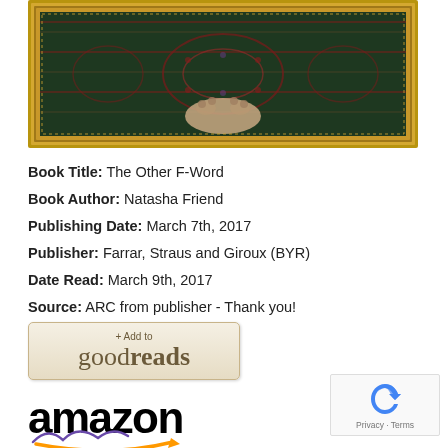[Figure (photo): Book cover photo showing a decorative Persian/Oriental rug with dark red and green colors, with what appears to be an animal paw visible, set inside a gold ornate picture frame]
Book Title:  The Other F-Word
Book Author:  Natasha Friend
Publishing Date:  March 7th, 2017
Publisher:  Farrar, Straus and Giroux (BYR)
Date Read:  March 9th, 2017
Source:  ARC from publisher - Thank you!
[Figure (logo): + Add to goodreads button with beige/cream background]
[Figure (logo): Amazon logo in black bold text with orange arrow smile underneath]